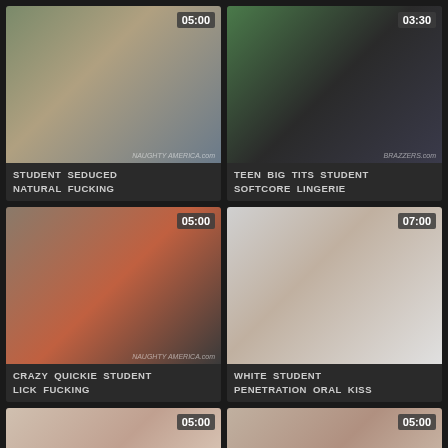[Figure (screenshot): Video thumbnail - office scene, man in tie and woman at desk, duration 05:00, Naughty America watermark]
STUDENT SEDUCED NATURAL FUCKING
[Figure (screenshot): Video thumbnail - man in black shirt sitting in chair with green background, duration 03:30, Brazzers watermark]
TEEN BIG TITS STUDENT SOFTCORE LINGERIE
[Figure (screenshot): Video thumbnail - man and woman in red shirt in office, duration 05:00, Naughty America watermark]
CRAZY QUICKIE STUDENT LICK FUCKING
[Figure (screenshot): Video thumbnail - three people sitting on white couch with papers, duration 07:00]
WHITE STUDENT PENETRATION ORAL KISS
[Figure (screenshot): Video thumbnail - partial view, duration 05:00]
[Figure (screenshot): Video thumbnail - woman with headband, duration 05:00]